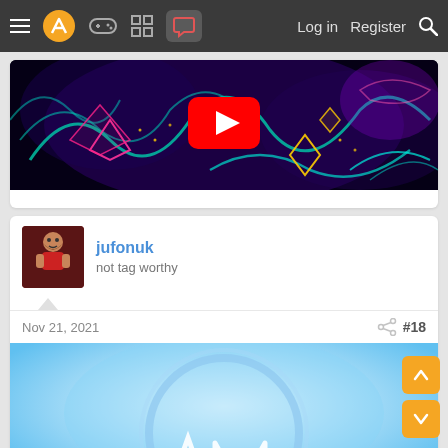Navigation bar with hamburger menu, logo, game controller icon, grid icon, chat icon (active), Log in, Register, search
[Figure (screenshot): YouTube video thumbnail showing a dark psychedelic/fractal art image with neon colors (teal, pink, purple) and a YouTube play button in the center]
jufonuk
not tag worthy
Nov 21, 2021
#18
[Figure (screenshot): Bottom portion of a post showing a blue-themed logo image with white geometric shapes forming letters inside a circular border on a light blue background]